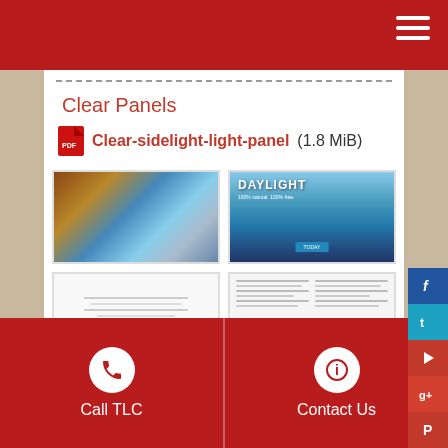Clear Panels
Clear-sidelight-light-panel (1.8 MiB)
[Figure (screenshot): Thumbnail 1: collage of building interior and blue panels]
[Figure (screenshot): Thumbnail 2: DAYLIGHT brochure cover with sky background, 100% natural 100% free]
[Figure (screenshot): Thumbnail 3: white page with faint lines]
[Figure (screenshot): Thumbnail 4: document page with columns of text]
Call TLC    Contact Us